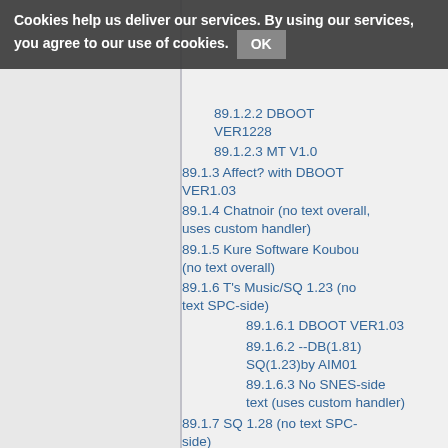Cookies help us deliver our services. By using our services, you agree to our use of cookies. OK
89.1.2.2 DBOOT VER1228
89.1.2.3 MT V1.0
89.1.3 Affect? with DBOOT VER1.03
89.1.4 Chatnoir (no text overall, uses custom handler)
89.1.5 Kure Software Koubou (no text overall)
89.1.6 T's Music/SQ 1.23 (no text SPC-side)
89.1.6.1 DBOOT VER1.03
89.1.6.2 --DB(1.81) SQ(1.23)by AIM01
89.1.6.3 No SNES-side text (uses custom handler)
89.1.7 SQ 1.28 (no text SPC-side)
89.1.7.1 DBOOT VER1.03
89.1.7.2 XXX